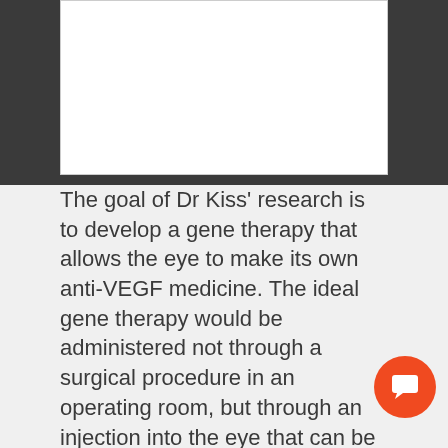[Figure (other): White rectangular box at top of page, likely containing an image (content not visible)]
The goal of Dr Kiss' research is to develop a gene therapy that allows the eye to make its own anti-VEGF medicine. The ideal gene therapy would be administered not through a surgical procedure in an operating room, but through an injection into the eye that can be done in the doctor's office, just like routine anti-VEGF treatment is done today.
To do this, Dr Kiss and colleagues have developed a next-generation vector that